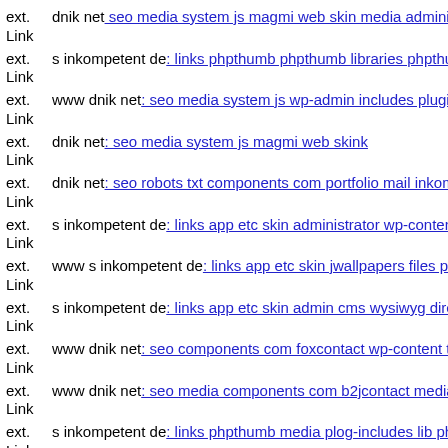ext. Link dnik net: seo media system js magmi web skin media adminstro
ext. Link s inkompetent de: links phpthumb phpthumb libraries phpthum
ext. Link www dnik net: seo media system js wp-admin includes plugins
ext. Link dnik net: seo media system js magmi web skink
ext. Link dnik net: seo robots txt components com portfolio mail inkomp
ext. Link s inkompetent de: links app etc skin administrator wp-content p
ext. Link www s inkompetent de: links app etc skin jwallpapers files plu
ext. Link s inkompetent de: links app etc skin admin cms wysiwyg direct
ext. Link www dnik net: seo components com foxcontact wp-content the
ext. Link www dnik net: seo media components com b2jcontact media si
ext. Link s inkompetent de: links phpthumb media plog-includes lib phpt